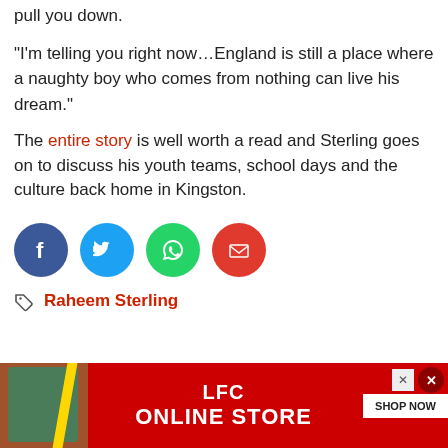pull you down.
“I’m telling you right now…England is still a place where a naughty boy who comes from nothing can live his dream.”
The entire story is well worth a read and Sterling goes on to discuss his youth teams, school days and the culture back home in Kingston.
[Figure (infographic): Four social sharing buttons: Facebook (blue circle), Twitter (light blue circle), WhatsApp (green circle), Email (red circle)]
Raheem Sterling
[Figure (infographic): LFC Online Store advertisement banner with red background, person in green LFC shirt, yellow diagonal stripe, LFC ONLINE STORE text, and SHOP NOW button]